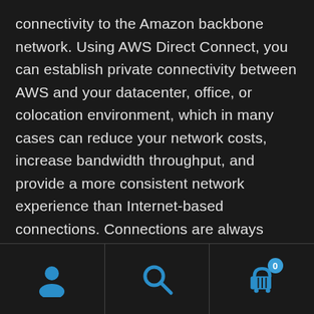connectivity to the Amazon backbone network. Using AWS Direct Connect, you can establish private connectivity between AWS and your datacenter, office, or colocation environment, which in many cases can reduce your network costs, increase bandwidth throughput, and provide a more consistent network experience than Internet-based connections. Connections are always made to a particular Direct Connect location, and can run at either 1 Gbps or 10 Gbps, or work with a partner to connect at speeds less than 1Gbps.
[user icon] [search icon] [cart icon with badge 0]